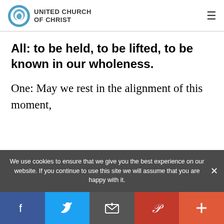UNITED CHURCH OF CHRIST
All: to be held, to be lifted, to be known in our wholeness.
One: May we rest in the alignment of this moment,
We use cookies to ensure that we give you the best experience on our website. If you continue to use this site we will assume that you are happy with it.